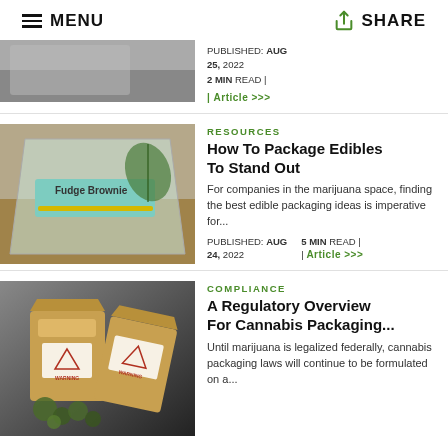MENU | SHARE
PUBLISHED: AUG 25, 2022  2 MIN READ | Article >>>
[Figure (photo): Edible cannabis product labeled Fudge Brownie in clear packaging with a cannabis leaf]
RESOURCES
How To Package Edibles To Stand Out
For companies in the marijuana space, finding the best edible packaging ideas is imperative for...
PUBLISHED: AUG 24, 2022  5 MIN READ | Article >>>
[Figure (photo): Brown kraft paper cannabis packaging bags with red warning labels and cannabis buds spilled out]
COMPLIANCE
A Regulatory Overview For Cannabis Packaging...
Until marijuana is legalized federally, cannabis packaging laws will continue to be formulated on a...